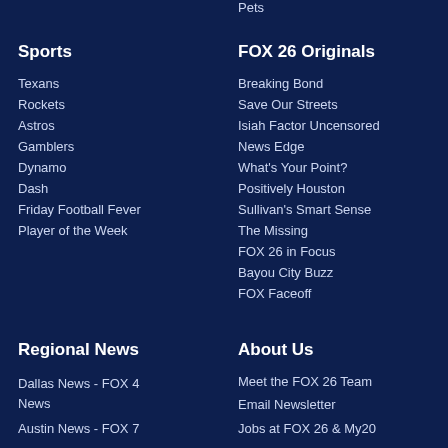Pets
Sports
Texans
Rockets
Astros
Gamblers
Dynamo
Dash
Friday Football Fever
Player of the Week
FOX 26 Originals
Breaking Bond
Save Our Streets
Isiah Factor Uncensored
News Edge
What's Your Point?
Positively Houston
Sullivan's Smart Sense
The Missing
FOX 26 in Focus
Bayou City Buzz
FOX Faceoff
Regional News
Dallas News - FOX 4 News
Austin News - FOX 7
About Us
Meet the FOX 26 Team
Email Newsletter
Jobs at FOX 26 & My20